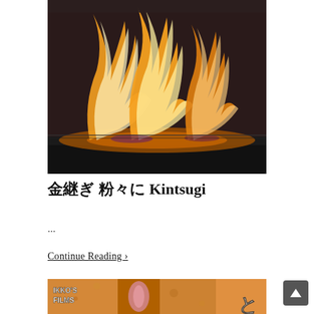[Figure (photo): Photograph of fire/flames burning in what appears to be a grill or fireplace, with orange and white flames against a dark background]
金継ぎ 粉々に Kintsugi
...
Continue Reading ›
[Figure (photo): Partial image of what appears to be food (possibly tonkatsu/fried cutlet) with 'IKKO'S FILMS' text overlay and Japanese character visible]